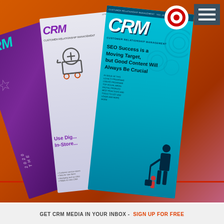[Figure (illustration): CRM magazine subscription advertisement showing three fanned-out CRM magazine covers (purple, white/blue, and cyan) on an orange-red gradient background. The front cyan magazine shows 'SEO Success is a Moving Target, but Good Content Will Always Be Crucial'. Large italic white text reads FREE below the magazines, with 'FOR QUALIFIED SUBSCRIBERS' beneath.]
FREE
FOR QUALIFIED SUBSCRIBERS
GET CRM MEDIA IN YOUR INBOX - SIGN UP FOR FREE